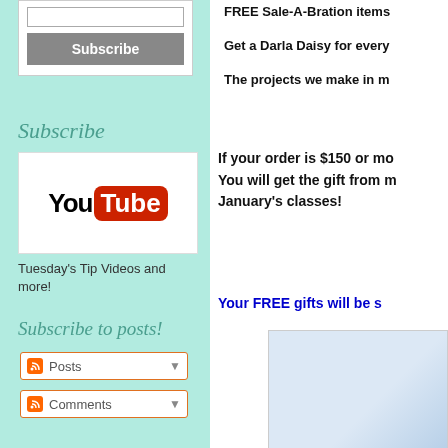[Figure (screenshot): Subscribe button and input box widget]
Subscribe
[Figure (logo): YouTube logo]
Tuesday's Tip Videos and more!
Subscribe to posts!
[Figure (screenshot): RSS Posts dropdown]
[Figure (screenshot): RSS Comments dropdown]
FREE Sale-A-Bration items
Get a Darla Daisy for every
The projects we make in my
If your order is $150 or mo... You will get the gift from m... January's classes!
Your FREE gifts will be s...